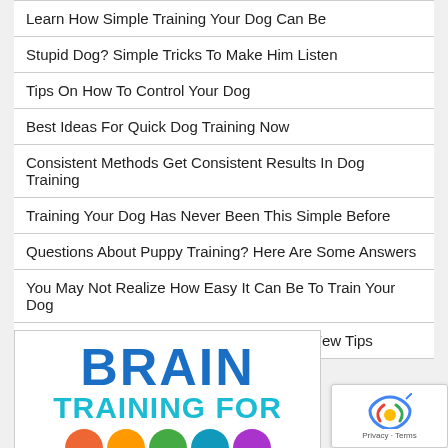Learn How Simple Training Your Dog Can Be
Stupid Dog? Simple Tricks To Make Him Listen
Tips On How To Control Your Dog
Best Ideas For Quick Dog Training Now
Consistent Methods Get Consistent Results In Dog Training
Training Your Dog Has Never Been This Simple Before
Questions About Puppy Training? Here Are Some Answers
You May Not Realize How Easy It Can Be To Train Your Dog
Eliminating Problem Dog Behaviors With A Few Tips
[Figure (illustration): Brain Training for Dogs promotional image with large bold blue text reading BRAIN and below it TRAINING FOR in teal/cyan color]